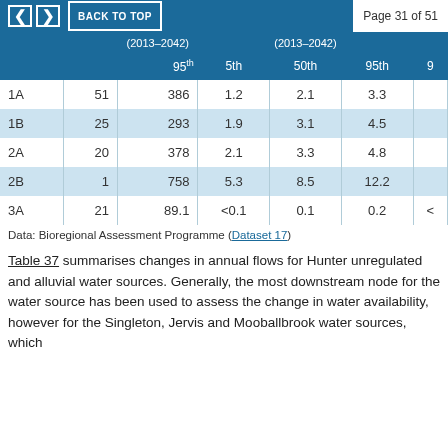< > BACK TO TOP  Page 31 of 51
|  |  | (2013–2042) 95th | 5th | 50th | 95th | 9... |
| --- | --- | --- | --- | --- | --- | --- |
| 1A | 51 | 386 | 1.2 | 2.1 | 3.3 |  |
| 1B | 25 | 293 | 1.9 | 3.1 | 4.5 |  |
| 2A | 20 | 378 | 2.1 | 3.3 | 4.8 |  |
| 2B | 1 | 758 | 5.3 | 8.5 | 12.2 |  |
| 3A | 21 | 89.1 | <0.1 | 0.1 | 0.2 | < |
Data: Bioregional Assessment Programme (Dataset 17)
Table 37 summarises changes in annual flows for Hunter unregulated and alluvial water sources. Generally, the most downstream node for the water source has been used to assess the change in water availability, however for the Singleton, Jervis and Mooballbrook water sources, which